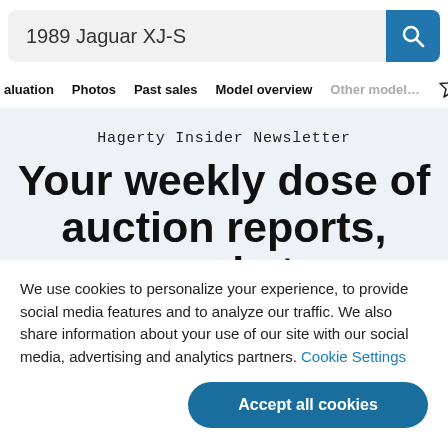1989 Jaguar XJ-S
Valuation  Photos  Past sales  Model overview  Other models
Hagerty Insider Newsletter
Your weekly dose of auction reports, market
We use cookies to personalize your experience, to provide social media features and to analyze our traffic. We also share information about your use of our site with our social media, advertising and analytics partners. Cookie Settings
Accept all cookies